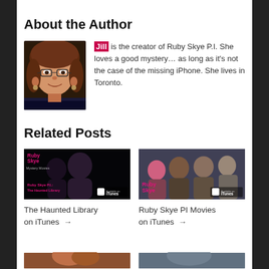About the Author
[Figure (photo): Photo of author Jill, a middle-aged woman with reddish-brown hair, glasses, and earrings, smiling]
Jill is the creator of Ruby Skye P.I. She loves a good mystery… as long as it's not the case of the missing iPhone. She lives in Toronto.
Related Posts
[Figure (photo): Thumbnail image for The Haunted Library on iTunes - Ruby Skye P.I. movie cover with two figures in dark setting]
The Haunted Library on iTunes →
[Figure (photo): Thumbnail image for Ruby Skye PI Movies on iTunes - group of young people]
Ruby Skye PI Movies on iTunes →